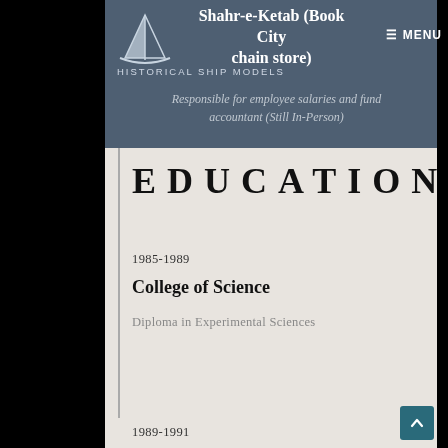Shahr-e-Ketab (Book City chain store)
Responsible for employee salaries and fund accountant (Still In-Person)
EDUCATION
1985-1989
College of Science
Diploma in Experimental Sciences
1989-1991